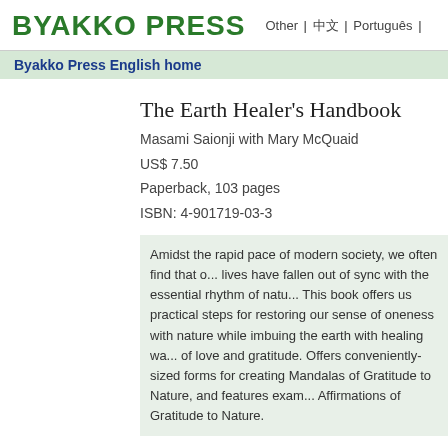BYAKKO PRESS  Other | 中文 | Português |
Byakko Press English home
The Earth Healer's Handbook
Masami Saionji with Mary McQuaid
US$ 7.50
Paperback, 103 pages
ISBN: 4-901719-03-3
Amidst the rapid pace of modern society, we often find that our lives have fallen out of sync with the essential rhythm of nature. This book offers us practical steps for restoring our sense of oneness with nature while imbuing the earth with healing waves of love and gratitude. Offers conveniently-sized forms for creating Mandalas of Gratitude to Nature, and features examples of Affirmations of Gratitude to Nature.
To Order
Amazon.com
Other Editions